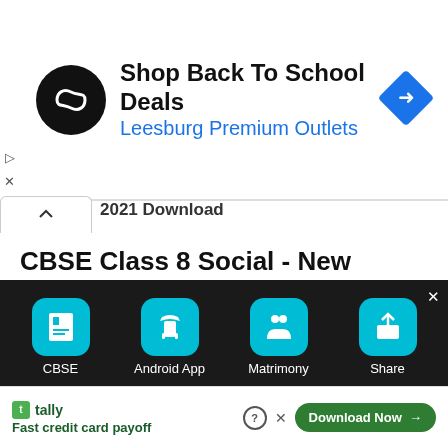[Figure (screenshot): Advertisement banner for Leesburg Premium Outlets - Shop Back To School Deals, with circular black logo and blue diamond arrow icon]
CBSE Class 8 Social - New Syllabus 2020 - 2021 Download
CBSE Syllabus,
[Figure (screenshot): Bottom app navigation bar with CBSE, Android App, Matrimony, and Share icons on dark background]
[Figure (screenshot): Bottom advertisement for Tally - Fast credit card payoff with Download Now button]